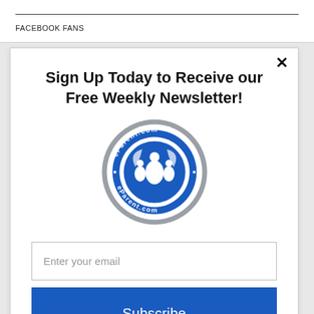FACEBOOK FANS
Sign Up Today to Receive our Free Weekly Newsletter!
[Figure (logo): eParent.com circular badge logo in blue and grey with stylized family figures]
Enter your email
Subscribe
powered by MailMunch